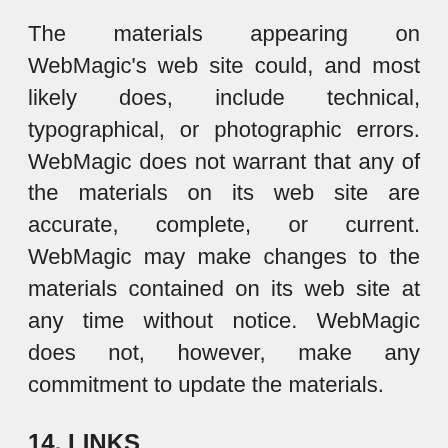The materials appearing on WebMagic's web site could, and most likely does, include technical, typographical, or photographic errors. WebMagic does not warrant that any of the materials on its web site are accurate, complete, or current. WebMagic may make changes to the materials contained on its web site at any time without notice. WebMagic does not, however, make any commitment to update the materials.
14. LINKS
WebMagic services may provide, or third parties may provide, links to or from other World Wide Web sites or resources. The inclusion of any link does not imply endorsement by WebMagic of the site. Additionally, WebMagic does not run or not run technological nor